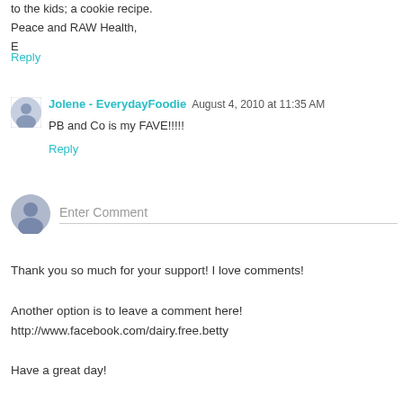to the kids; a cookie recipe.
Peace and RAW Health,
E
Reply
Jolene - EverydayFoodie  August 4, 2010 at 11:35 AM
PB and Co is my FAVE!!!!!
Reply
Enter Comment
Thank you so much for your support! I love comments!
Another option is to leave a comment here!
http://www.facebook.com/dairy.free.betty
Have a great day!